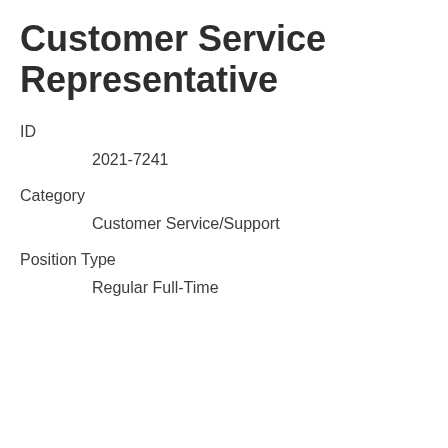Customer Service Representative
ID
2021-7241
Category
Customer Service/Support
Position Type
Regular Full-Time